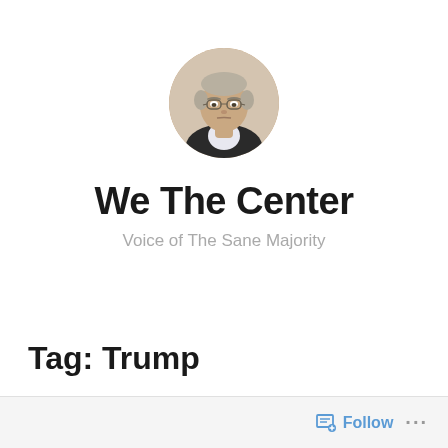[Figure (photo): Circular profile photo of an elderly man with glasses and gray/white hair, wearing a dark jacket with a light shirt, against a simple background.]
We The Center
Voice of The Sane Majority
Tag: Trump
Follow ...